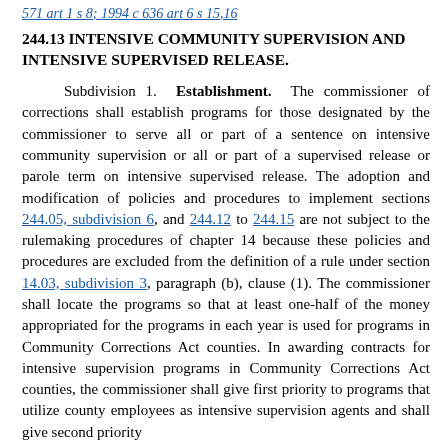571 art 1 s 8; 1994 c 636 art 6 s 15,16
244.13 INTENSIVE COMMUNITY SUPERVISION AND INTENSIVE SUPERVISED RELEASE.
Subdivision 1. Establishment. The commissioner of corrections shall establish programs for those designated by the commissioner to serve all or part of a sentence on intensive community supervision or all or part of a supervised release or parole term on intensive supervised release. The adoption and modification of policies and procedures to implement sections 244.05, subdivision 6, and 244.12 to 244.15 are not subject to the rulemaking procedures of chapter 14 because these policies and procedures are excluded from the definition of a rule under section 14.03, subdivision 3, paragraph (b), clause (1). The commissioner shall locate the programs so that at least one-half of the money appropriated for the programs in each year is used for programs in Community Corrections Act counties. In awarding contracts for intensive supervision programs in Community Corrections Act counties, the commissioner shall give first priority to programs that utilize county employees as intensive supervision agents and shall give second priority